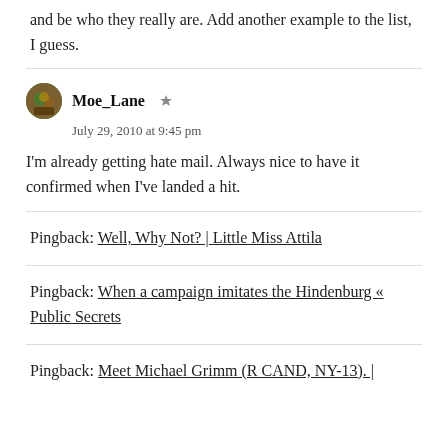and be who they really are. Add another example to the list, I guess.
Moe_Lane
July 29, 2010 at 9:45 pm

I'm already getting hate mail. Always nice to have it confirmed when I've landed a hit.
Pingback: Well, Why Not? | Little Miss Attila
Pingback: When a campaign imitates the Hindenburg « Public Secrets
Pingback: Meet Michael Grimm (R CAND, NY-13). |